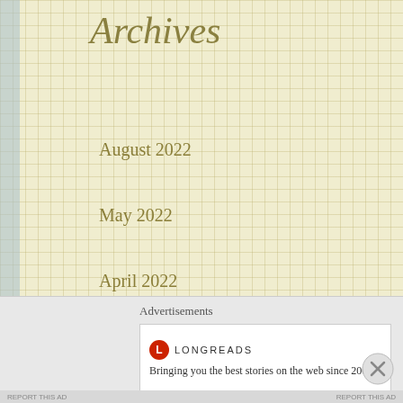Archives
August 2022
May 2022
April 2022
February 2022
January 2022
December 2021
October 2021
August 2021
July 2021
Advertisements
[Figure (logo): Longreads logo with red circle containing L and text LONGREADS]
Bringing you the best stories on the web since 2009.